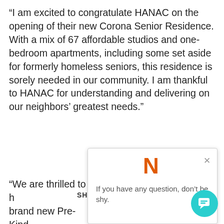“I am excited to congratulate HANAC on the opening of their new Corona Senior Residence. With a mix of 67 affordable studios and one-bedroom apartments, including some set aside for formerly homeless seniors, this residence is sorely needed in our community. I am thankful to HANAC for understanding and delivering on our neighbors’ greatest needs.”
“We are thrilled to h[ave in our community a] brand new Pre-Kind[ergarten center to serve] families in Corona a[nd...] private partnership that benefits children and seniors alike” said Lorraine Grillo, Preside[nt] and Chief Executive Office[r] of the New York City School Construction Authority...
[Figure (screenshot): A popup notification widget showing a large orange 'N' letter at top, an 'x' close button, and the text 'If you have any question, don't be shy.' Below is a share bar with SHARE label and Facebook, Twitter, LinkedIn icons in orange. A teal circular chat bubble icon appears in the bottom right.]